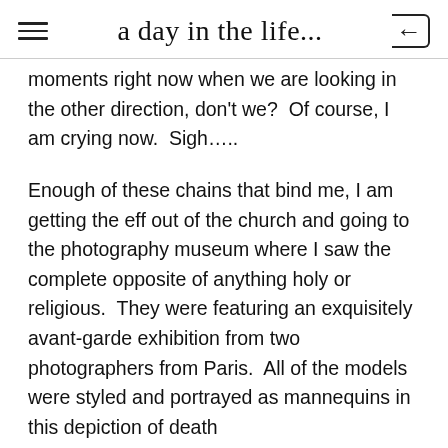a day in the life...
moments right now when we are looking in the other direction, don't we?  Of course, I am crying now.  Sigh…..
Enough of these chains that bind me, I am getting the eff out of the church and going to the photography museum where I saw the complete opposite of anything holy or religious.  They were featuring an exquisitely avant-garde exhibition from two photographers from Paris.  All of the models were styled and portrayed as mannequins in this depiction of death